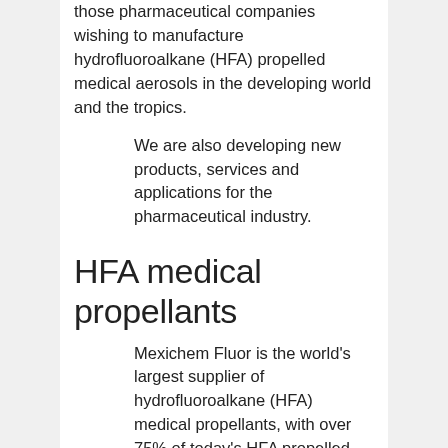those pharmaceutical companies wishing to manufacture hydrofluoroalkane (HFA) propelled medical aerosols in the developing world and the tropics.
We are also developing new products, services and applications for the pharmaceutical industry.
HFA medical propellants
Mexichem Fluor is the world's largest supplier of hydrofluoroalkane (HFA) medical propellants, with over 75% of today's HFA propelled metered dose inhalers (MDIs) filled with